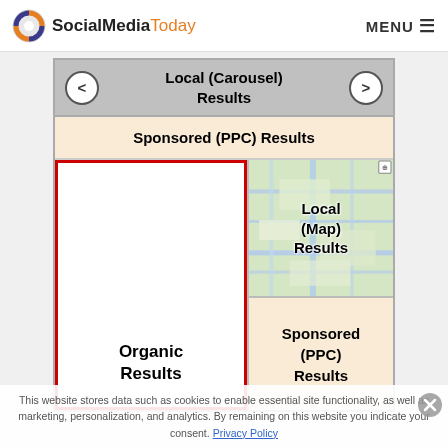SocialMediaToday  MENU
[Figure (infographic): A search engine results page diagram showing: Local (Carousel) Results at top with left/right navigation arrows, Sponsored (PPC) Results banner, Organic Results in a red-bordered box on left, Local (Map) Results with a map background on upper right, and Sponsored (PPC) Results on lower right.]
This website stores data such as cookies to enable essential site functionality, as well as marketing, personalization, and analytics. By remaining on this website you indicate your consent. Privacy Policy